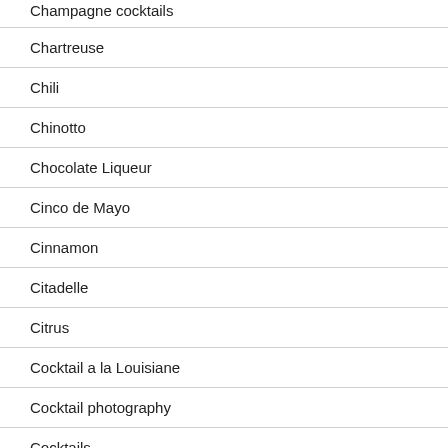Champagne cocktails
Chartreuse
Chili
Chinotto
Chocolate Liqueur
Cinco de Mayo
Cinnamon
Citadelle
Citrus
Cocktail a la Louisiane
Cocktail photography
Cocktails